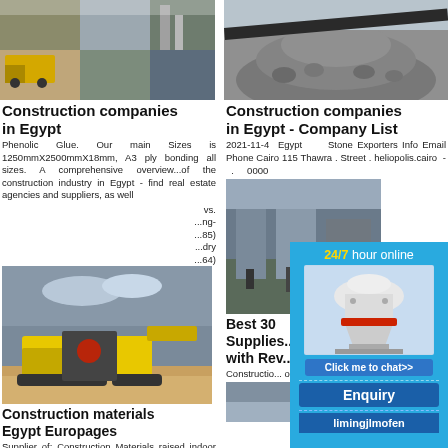[Figure (photo): Collage of construction vehicles and equipment including yellow truck and industrial structures]
Construction companies in Egypt
Phenolic Glue. Our main Sizes is 1250mmX2500mmX18mm, A3 ply bonding all sizes. A comprehensive overview...of the construction industry in Egypt - find real estate agencies and suppliers, as well
vs. ...ng- ...85) ...dry ...64)
[Figure (photo): Yellow construction machine/crusher on gravel road with cloudy sky]
Construction materials Egypt Europages
Supplier of: Construction Materials raised indoor flooring for industrial buildings raised floor supplies. SAVETO - Egypt
in ...ent
[Figure (photo): Pile of gravel/aggregate stones and sand]
Construction companies in Egypt - Company List
2021-11-4  Egypt  Stone Exporters Info Email Phone Cairo 115 Thawra . Street . heliopolis.cairo - . 0000
[Figure (photo): Construction site / industrial building interior]
Best 30 Supplies... with Rev...
Constructio... on YP. S... directions,...
[Figure (infographic): Advertisement overlay: 24/7 hour online with cone crusher machine image, Click me to chat>> button, Enquiry section, limingjlmofen text]
[Figure (photo): Industrial/construction photo at bottom right]